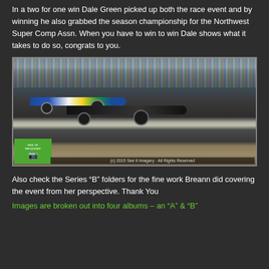In a two for one win Dale Green picked up both the race event and by winning he also grabbed the season championship for the Northwest Super Comp Assn. When you have to win to win Dale shows what it takes to do so, congrats to you.
[Figure (photo): Two dragster cars racing side by side on a drag strip with a large crowd of spectators in the grandstands in the background. The left car is blue, white, and yellow. The right car is black. A 'See It Imagery' watermark logo appears in the lower left, and a copyright line reads '(c) 2015 See It Imagery - All Rights Reserved'.]
Also check the Series “B” folders for the fine work Breann did covering the event from her perspective. Thank You
Images are broken out into four albums – an “A” & “B”